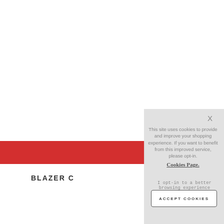[Figure (screenshot): Website screenshot showing a red navigation bar partially visible on the left side of the page]
BLAZER C
This site uses cookies to provide and improve your shopping experience. If you want to benefit from this improved service, please opt-in. Cookies Page.
I opt-in to a better browsing experience
ACCEPT COOKIES